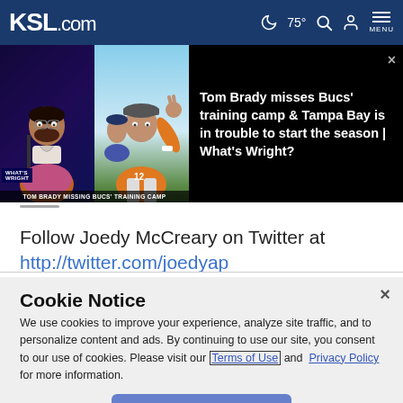KSL.com  🌙 75° 🔍 👤 MENU
[Figure (screenshot): Video thumbnail showing two panels: left panel with a commentator/host, right panel with Tom Brady in orange jersey waving, with overlay text 'TOM BRADY MISSING BUCS TRAINING CAMP' and headline: Tom Brady misses Bucs' training camp & Tampa Bay is in trouble to start the season | What's Wright?]
Follow Joedy McCreary on Twitter at http://twitter.com/joedyap
Cookie Notice
We use cookies to improve your experience, analyze site traffic, and to personalize content and ads. By continuing to use our site, you consent to our use of cookies. Please visit our Terms of Use and Privacy Policy for more information.